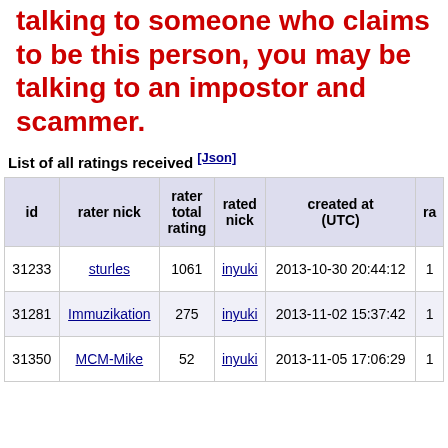talking to someone who claims to be this person, you may be talking to an impostor and scammer.
List of all ratings received [Json]
| id | rater nick | rater total rating | rated nick | created at (UTC) | ra |
| --- | --- | --- | --- | --- | --- |
| 31233 | sturles | 1061 | inyuki | 2013-10-30 20:44:12 | 1 |
| 31281 | Immuzikation | 275 | inyuki | 2013-11-02 15:37:42 | 1 |
| 31350 | MCM-Mike | 52 | inyuki | 2013-11-05 17:06:29 | 1 |